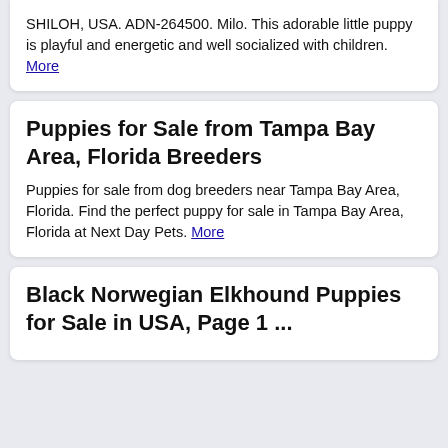SHILOH, USA. ADN-264500. Milo. This adorable little puppy is playful and energetic and well socialized with children. More
Puppies for Sale from Tampa Bay Area, Florida Breeders
Puppies for sale from dog breeders near Tampa Bay Area, Florida. Find the perfect puppy for sale in Tampa Bay Area, Florida at Next Day Pets. More
Black Norwegian Elkhound Puppies for Sale in USA, Page 1 ...